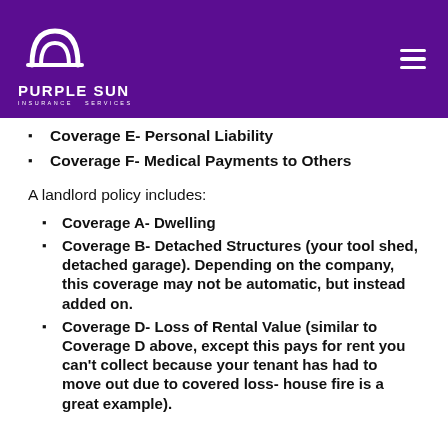[Figure (logo): Purple Sun Insurance Services logo — white arch/sun icon on purple background with company name]
Coverage E- Personal Liability
Coverage F- Medical Payments to Others
A landlord policy includes:
Coverage A- Dwelling
Coverage B- Detached Structures (your tool shed, detached garage). Depending on the company, this coverage may not be automatic, but instead added on.
Coverage D- Loss of Rental Value (similar to Coverage D above, except this pays for rent you can’t collect because your tenant has had to move out due to covered loss- house fire is a great example).